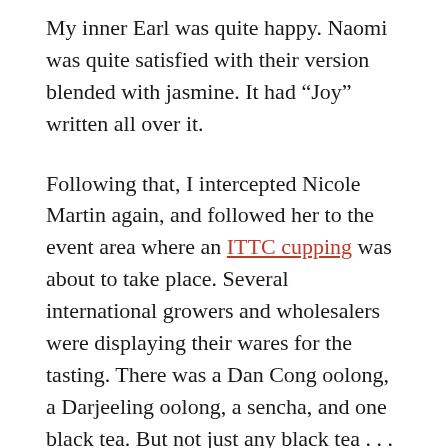My inner Earl was quite happy. Naomi was quite satisfied with their version blended with jasmine. It had “Joy” written all over it.
Following that, I intercepted Nicole Martin again, and followed her to the event area where an ITTC cupping was about to take place. Several international growers and wholesalers were displaying their wares for the tasting. There was a Dan Cong oolong, a Darjeeling oolong, a sencha, and one black tea. But not just any black tea . . . Doke Black Fusion, 2015 Second Flush, with a backstory explained by Rajiv Lochan himself.